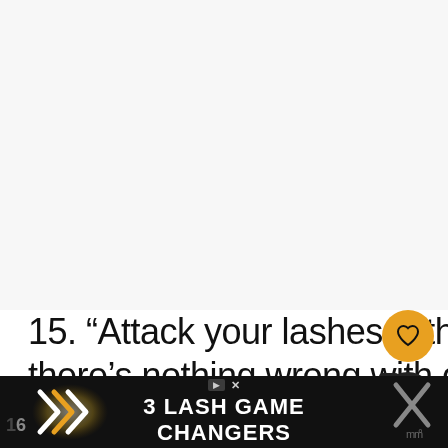[Figure (other): Large empty whitish/light gray rectangular area at the top of the page, likely an image placeholder]
15. “Attack your lashes with the wand. I think there’s nothing wrong with doing that.” – Delevingne
[Figure (infographic): Orange heart/like button icon, black share button with count 4, and 'What's Next' widget showing 'Rose Quotes Honoring O...' with a flower image]
[Figure (infographic): Bottom advertisement banner: black background with chevron arrows, text '3 LASH GAME CHANGERS', ad badge, close X, and a mascara wand icon on the right. Number 16 partially visible at left edge.]